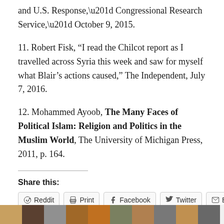and U.S. Response,” Congressional Research Service,” October 9, 2015.
11. Robert Fisk, “I read the Chilcot report as I travelled across Syria this week and saw for myself what Blair’s actions caused,” The Independent, July 7, 2016.
12. Mohammed Ayoob, The Many Faces of Political Islam: Religion and Politics in the Muslim World, The University of Michigan Press, 2011, p. 164.
Share this:
Reddit | Print | Facebook | Twitter | Email